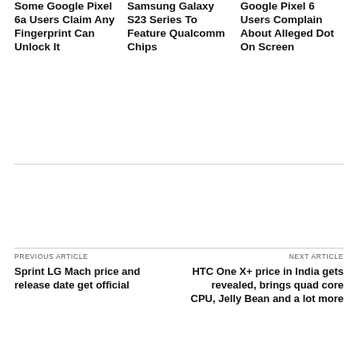Some Google Pixel 6a Users Claim Any Fingerprint Can Unlock It
Samsung Galaxy S23 Series To Feature Qualcomm Chips
Google Pixel 6 Users Complain About Alleged Dot On Screen
PREVIOUS ARTICLE
Sprint LG Mach price and release date get official
NEXT ARTICLE
HTC One X+ price in India gets revealed, brings quad core CPU, Jelly Bean and a lot more